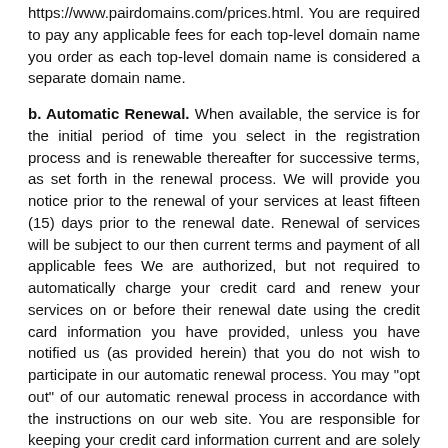https://www.pairdomains.com/prices.html. You are required to pay any applicable fees for each top-level domain name you order as each top-level domain name is considered a separate domain name.
b. Automatic Renewal. When available, the service is for the initial period of time you select in the registration process and is renewable thereafter for successive terms, as set forth in the renewal process. We will provide you notice prior to the renewal of your services at least fifteen (15) days prior to the renewal date. Renewal of services will be subject to our then current terms and payment of all applicable fees We are authorized, but not required to automatically charge your credit card and renew your services on or before their renewal date using the credit card information you have provided, unless you have notified us (as provided herein) that you do not wish to participate in our automatic renewal process. You may "opt out" of our automatic renewal process in accordance with the instructions on our web site. You are responsible for keeping your credit card information current and are solely responsible for the credit card information you provide to us. If the credit card information of record is no longer accurate, you will be responsible for payment of any required fees. If you fail to pay the required fees, your registration will automatically expire. You are solely responsible for ensuring the services are renewed. Pair Networks shall have no liability to you or any third party in